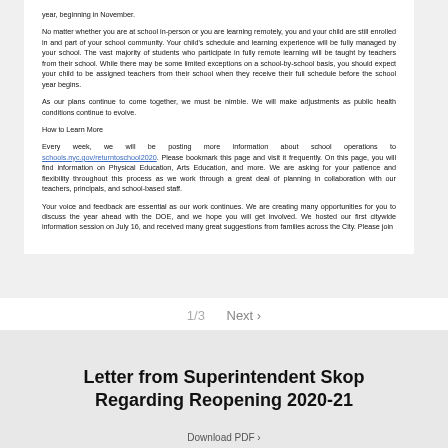year, beginning in November.
No matter whether you are at school in-person or you are learning remotely, you and your child are still enrolled in and part of your school community. Your child's schedule and learning experience will be fully managed by your school. The vast majority of students who participate in fully remote learning will be taught by teachers from their school. While there may be some limited exceptions on a school-by-school basis, you should expect your child to be assigned teachers from their school when they receive their full schedule before the school year begins.
As our plans continue to come together, we must be nimble. We will make adjustments as public health conditions continue to evolve.
How to Learn More
Every week, we will be posting more information about school operations to schools.nyc.gov/returntoschool2020. Please bookmark this page and visit it frequently. On this page, you will find information on Physical Education, Arts Education, and more. We are asking for your patience and flexibility throughout this process as we work through a great deal of planning in collaboration with our teachers, principals, and school-based staff.
Your voice and feedback are essential as our work continues. We are creating many opportunities for you to discuss the year ahead with the DOE, and we hope you will get involved. We hosted our first citywide information session on July 16, and received many great suggestions from families across the City. Please join
1/3    Next >
Letter from Superintendent Skop Regarding Reopening 2020-21
Download PDF >